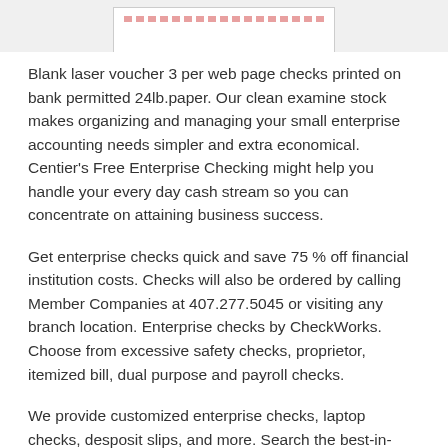[Figure (photo): Partial image of a blank laser check stub at the top of the page]
Blank laser voucher 3 per web page checks printed on bank permitted 24lb.paper. Our clean examine stock makes organizing and managing your small enterprise accounting needs simpler and extra economical. Centier's Free Enterprise Checking might help you handle your every day cash stream so you can concentrate on attaining business success.
Get enterprise checks quick and save 75 % off financial institution costs. Checks will also be ordered by calling Member Companies at 407.277.5045 or visiting any branch location. Enterprise checks by CheckWorks. Choose from excessive safety checks, proprietor, itemized bill, dual purpose and payroll checks.
We provide customized enterprise checks, laptop checks, desposit slips, and more. Search the best-in-class content material obtainable on Yahoo Finance, or